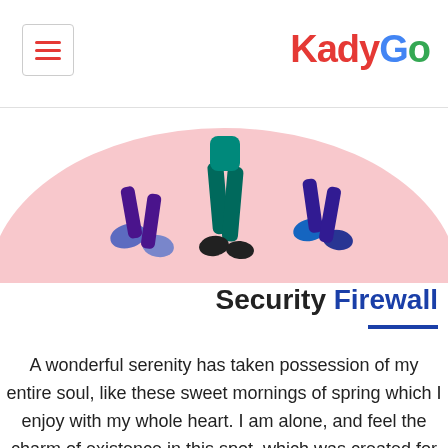KadyGo
[Figure (illustration): A pink semi-circular illustration showing people walking, with legs and feet visible, teal trousers and blue/purple shoes, on a light pink rounded background.]
Security Firewall
A wonderful serenity has taken possession of my entire soul, like these sweet mornings of spring which I enjoy with my whole heart. I am alone, and feel the charm of existence in this spot, which was created for the bliss of souls like mine. I am so happy, my dear friend, so absorbed